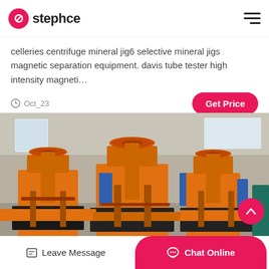stephce
celleries centrifuge mineral jig6 selective mineral jigs magnetic separation equipment. davis tube tester high intensity magneti…
Oct_23
[Figure (photo): Industrial orange mining/mineral processing machines (jig concentrators) in a factory warehouse setting with high ceilings and natural light from windows]
Leave Message  Chat Online